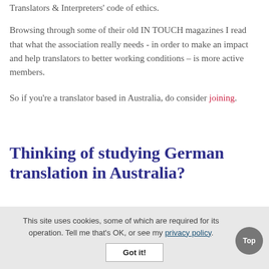Translators & Interpreters' code of ethics.
Browsing through some of their old IN TOUCH magazines I read that what the association really needs - in order to make an impact and help translators to better working conditions – is more active members.
So if you're a translator based in Australia, do consider joining.
Thinking of studying German translation in Australia?
This site uses cookies, some of which are required for its operation. Tell me that's OK, or see my privacy policy.
Got it!